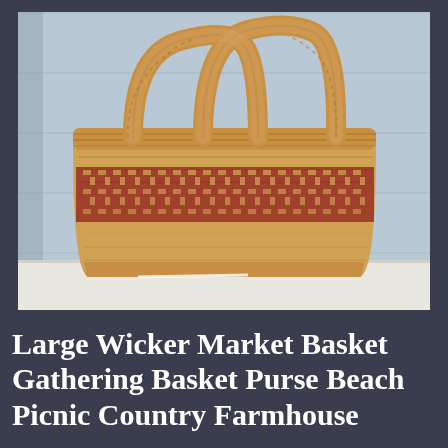[Figure (photo): A large wicker market basket with two rounded wicker handles, featuring a natural tan/beige woven body with a decorative band of dark reddish-brown cross-hatch pattern around the middle. The basket sits on a white shelf against a light blue-grey painted wood plank wall background.]
Large Wicker Market Basket Gathering Basket Purse Beach Picnic Country Farmhouse